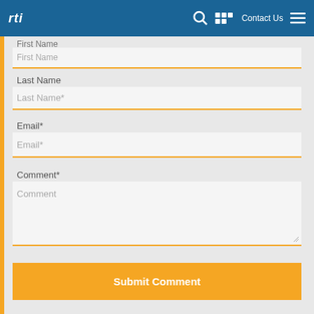[Figure (screenshot): RTI website navigation bar with logo, search icon, grid icon, Contact Us link, and hamburger menu on blue background]
First Name
Last Name
Last Name*
Email*
Email*
Comment*
Comment
Submit Comment